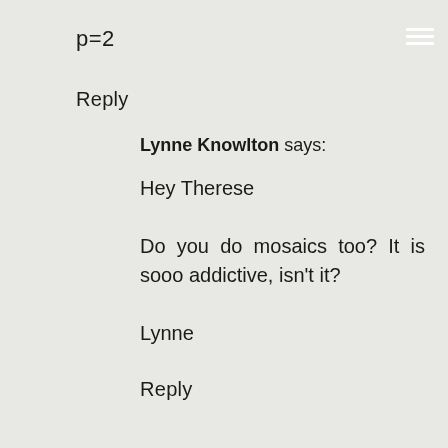p=2
Reply
Lynne Knowlton says:
Hey Therese

Do you do mosaics too? It is sooo addictive, isn't it?

Lynne
Reply